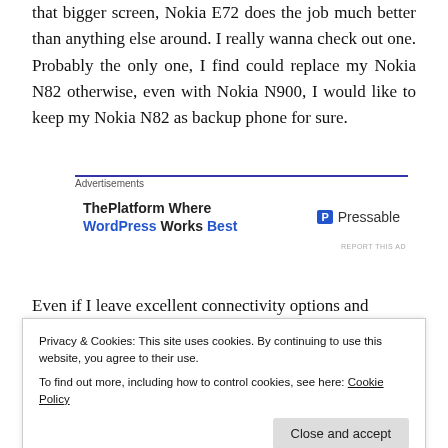that bigger screen, Nokia E72 does the job much better than anything else around. I really wanna check out one. Probably the only one, I find could replace my Nokia N82 otherwise, even with Nokia N900, I would like to keep my Nokia N82 as backup phone for sure.
[Figure (other): Advertisement banner for Pressable / ThePlatform Where WordPress Works Best]
Even if I leave excellent connectivity options and
Privacy & Cookies: This site uses cookies. By continuing to use this website, you agree to their use. To find out more, including how to control cookies, see here: Cookie Policy
Close and accept
more. I literally rate out there, you can pre)